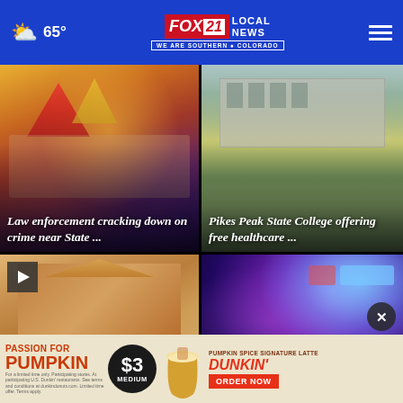FOX 21 LOCAL NEWS — WE ARE SOUTHERN COLORADO | 65°
[Figure (screenshot): Carnival/fair scene with colorful tents and stuffed animals]
Law enforcement cracking down on crime near State ...
[Figure (screenshot): Exterior of a brick building, likely Pikes Peak State College]
Pikes Peak State College offering free healthcare ...
[Figure (screenshot): Museum building with wooden slat exterior — video card with play button]
La... contractio...
[Figure (screenshot): Police car with blue and red emergency lights flashing]
5 se...
[Figure (screenshot): Dunkin' Passion for Pumpkin $3 medium advertisement banner]